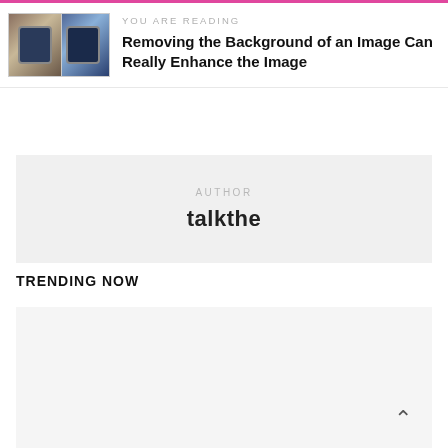[Figure (photo): Two watch thumbnails side by side]
YOU ARE READING
Removing the Background of an Image Can Really Enhance the Image
AUTHOR
talkthe
TRENDING NOW
[Figure (photo): Trending article image placeholder]